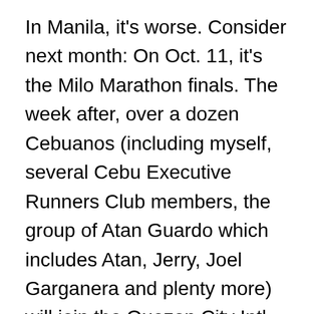In Manila, it's worse. Consider next month: On Oct. 11, it's the Milo Marathon finals. The week after, over a dozen Cebuanos (including myself, several Cebu Executive Runners Club members, the group of Atan Guardo which includes Atan, Jerry, Joel Garganera and plenty more) will join the Quezon City Intl. Marathon. The weekend after, on Oct. 24 and 25, it's the Subic Intl. Marathon with our most famous TV personality, Haide Acuña, joining that night race (from 4:30 p.m. until midnight). And